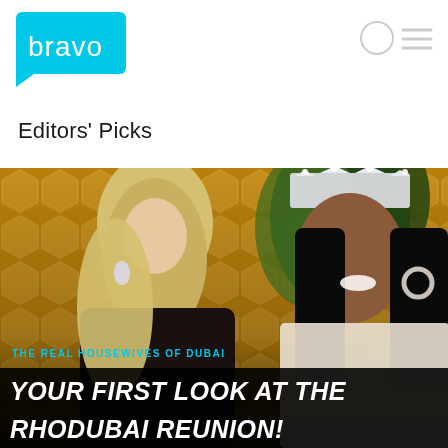bravo
Editors' Picks
[Figure (photo): Two women at The Real Housewives of Dubai reunion. Left: blonde woman in dark patterned outfit with chandelier earrings. Right: Black woman wearing a crystal crown and white lace gown with large hoop earrings. Background has gold hexagonal pattern and green plants. Overlay text: 'THE REAL HOUSEWIVES OF DUBAI' in cyan, and 'YOUR FIRST LOOK AT THE RHODUBAI REUNION!' in white bold italic on black bar.]